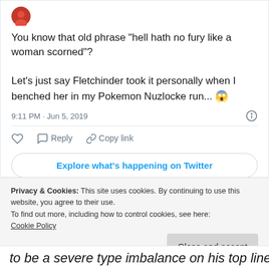[Figure (other): Twitter avatar icon (red/orange profile picture)]
You know that old phrase "hell hath no fury like a woman scorned"?

Let's just say Fletchinder took it personally when I benched her in my Pokemon Nuzlocke run... 😱
9:11 PM · Jun 5, 2019
♡  Reply  Copy link
Explore what's happening on Twitter
Privacy & Cookies: This site uses cookies. By continuing to use this website, you agree to their use.
To find out more, including how to control cookies, see here:
Cookie Policy
Close and accept
to be a severe type imbalance on his top line!